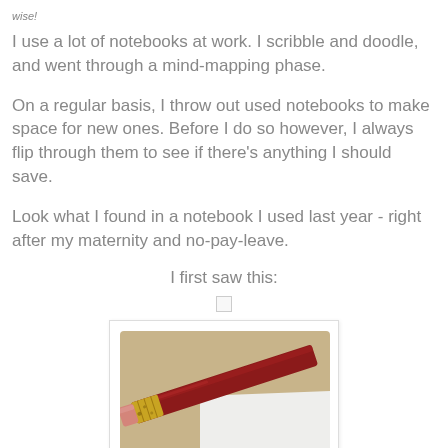wise!
I use a lot of notebooks at work. I scribble and doodle, and went through a mind-mapping phase.
On a regular basis, I throw out used notebooks to make space for new ones. Before I do so however, I always flip through them to see if there's anything I should save.
Look what I found in a notebook I used last year - right after my maternity and no-pay-leave.
I first saw this:
[Figure (photo): A red/dark burgundy pencil with gold metallic eraser ferrule and pink eraser tip, lying diagonally on a notebook page with white/cream paper background.]